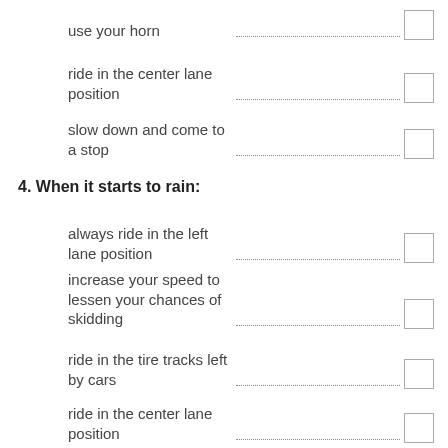use your horn.
ride in the center lane position.
slow down and come to a stop.
4. When it starts to rain:
always ride in the left lane position.
increase your speed to lessen your chances of skidding.
ride in the tire tracks left by cars.
ride in the center lane position.